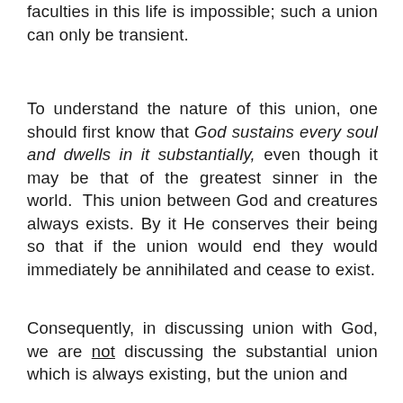faculties in this life is impossible; such a union can only be transient.
To understand the nature of this union, one should first know that God sustains every soul and dwells in it substantially, even though it may be that of the greatest sinner in the world. This union between God and creatures always exists. By it He conserves their being so that if the union would end they would immediately be annihilated and cease to exist.
Consequently, in discussing union with God, we are not discussing the substantial union which is always existing, but the union and